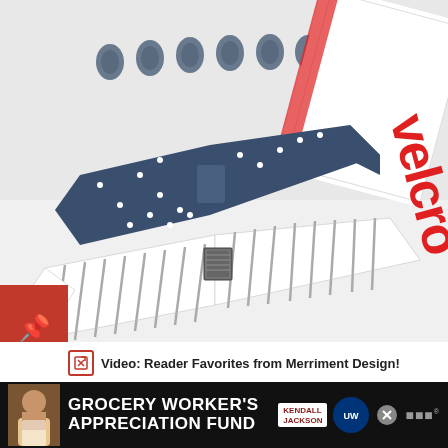[Figure (photo): Craft photo showing DIY bow ties made from patterned fabric (polka dot and striped), Velcro dots, and a Velcro brand box in background on white surface]
[Figure (photo): Social media sharing sidebar with Pinterest (red), Facebook (dark blue), and Twitter (light blue) icons]
Video: Reader Favorites from Merriment Design!
[Figure (photo): Bottom portion of a crafts page showing partial image with pink circular embroidery or decoration on orange background]
[Figure (photo): Advertisement banner: Grocery Worker's Appreciation Fund with Kendall Jackson and United Way logos]